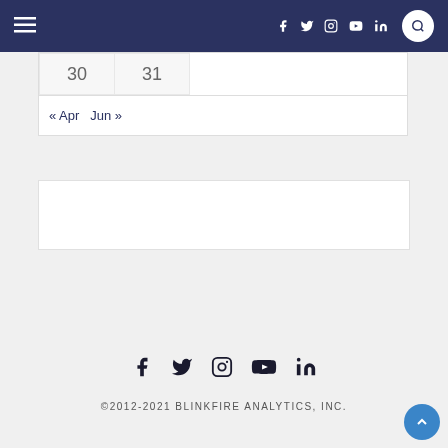Navigation bar with hamburger menu and social icons: Facebook, Twitter, Instagram, YouTube, LinkedIn, and search
| 30 | 31 |
« Apr   Jun »
Social icons: Facebook, Twitter, Instagram, YouTube, LinkedIn
©2012-2021 BLINKFIRE ANALYTICS, INC.